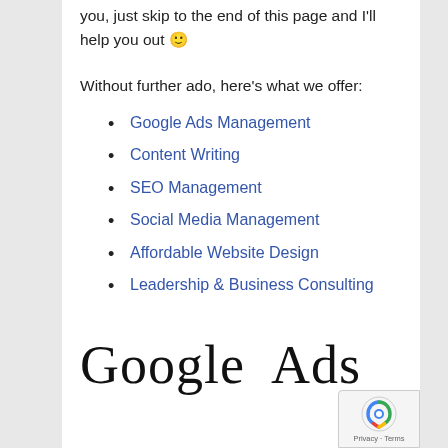you, just skip to the end of this page and I'll help you out 🙂
Without further ado, here's what we offer:
Google Ads Management
Content Writing
SEO Management
Social Media Management
Affordable Website Design
Leadership & Business Consulting
Google Ads